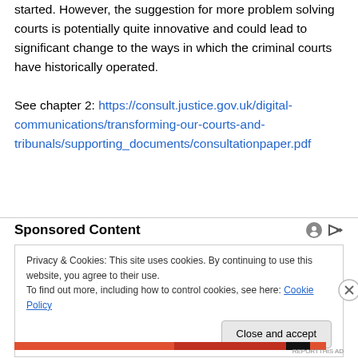started. However, the suggestion for more problem solving courts is potentially quite innovative and could lead to significant change to the ways in which the criminal courts have historically operated.

See chapter 2: https://consult.justice.gov.uk/digital-communications/transforming-our-courts-and-tribunals/supporting_documents/consultationpaper.pdf
Sponsored Content
Privacy & Cookies: This site uses cookies. By continuing to use this website, you agree to their use.
To find out more, including how to control cookies, see here: Cookie Policy